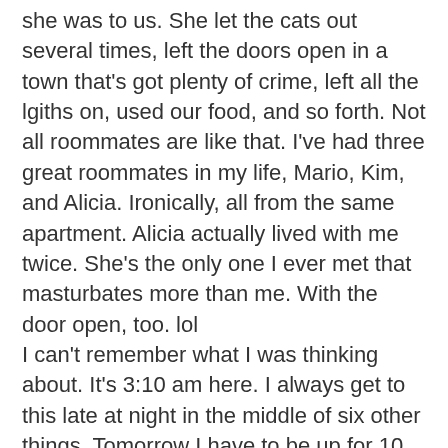she was to us. She let the cats out several times, left the doors open in a town that's got plenty of crime, left all the lgiths on, used our food, and so forth. Not all roommates are like that. I've had three great roommates in my life, Mario, Kim, and Alicia. Ironically, all from the same apartment. Alicia actually lived with me twice. She's the only one I ever met that masturbates more than me. With the door open, too. lol
I can't remember what I was thinking about. It's 3:10 am here. I always get to this late at night in the middle of six other things. Tomorrow I have to be up for 10 to go to my shitty Silver Spoon delivery service job where I'm lucky if I make $400 a week at. I need to get back into a regular place. My new goal is save two years and try to open another pizza place. Fuck it. I know how to run them. It's a lot of work, but I'll do it right this time around.
Okay, I'll try to post again tomorrow or the next day. Later!